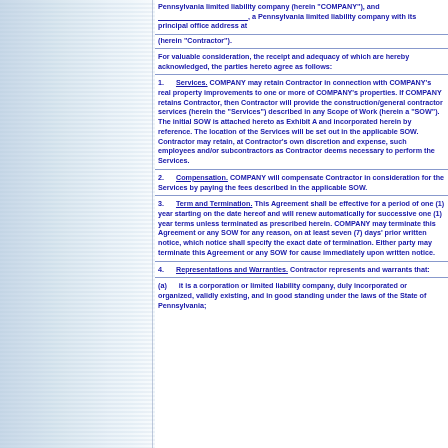Pennsylvania limited liability company (herein "COMPANY"), and __________________, a Pennsylvania limited liability company with its principal office address at
(herein "Contractor").
For valuable consideration, the receipt and adequacy of which are hereby acknowledged, the parties hereto agree as follows:
1.    Services.  COMPANY may retain Contractor in connection with COMPANY's real property improvements to one or more of COMPANY's properties. If COMPANY retains Contractor, then Contractor will provide the construction/general contractor services (herein the "Services") described in any Scope of Work (herein a "SOW").  The initial SOW is attached hereto as Exhibit A and incorporated herein by reference. The location of the Services will be set out in the applicable SOW. Contractor may retain, at Contractor's own discretion and expense, such employees and/or subcontractors as Contractor deems necessary to perform the Services.
2.    Compensation.  COMPANY will compensate Contractor in consideration for the Services by paying the fees described in the applicable SOW.
3.    Term and Termination.  This Agreement shall be effective for a period of one (1) year starting on the date hereof and will renew automatically for successive one (1) year terms unless terminated as prescribed herein. COMPANY may terminate this Agreement or any SOW for any reason, on at least seven (7) days' prior written notice, which notice shall specify the exact date of termination. Either party may terminate this Agreement or any SOW for cause immediately upon written notice.
4.    Representations and Warranties.  Contractor represents and warrants that:
(a)    it is a corporation or limited liability company, duly incorporated or organized, validly existing, and in good standing under the laws of the State of Pennsylvania;